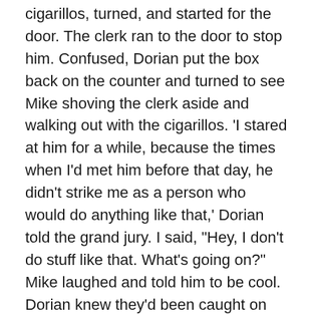cigarillos, turned, and started for the door. The clerk ran to the door to stop him. Confused, Dorian put the box back on the counter and turned to see Mike shoving the clerk aside and walking out with the cigarillos. 'I stared at him for a while, because the times when I'd met him before that day, he didn't strike me as a person who would do anything like that,' Dorian told the grand jury. I said, "Hey, I don't do stuff like that. What's going on?" Mike laughed and told him to be cool. Dorian knew they'd been caught on camera, and when a police cruiser approached he started worrying, but it passed them by. There were no cars coming or going, so the two crossed into the middle of Canfield Drive to the median line – Dorian walking in front, Mike right behind. Mike was carrying half the cigarillos in each hand. It was a Saturday in August, approaching high noon. They were almost home. A white Chevy Tahoe marked 'Ferguson Police' was just around